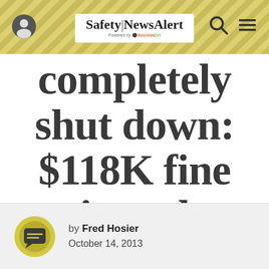Safety|NewsAlert — Powered by SuccessEel
completely shut down: $118K fine issued
by Fred Hosier
October 14, 2013